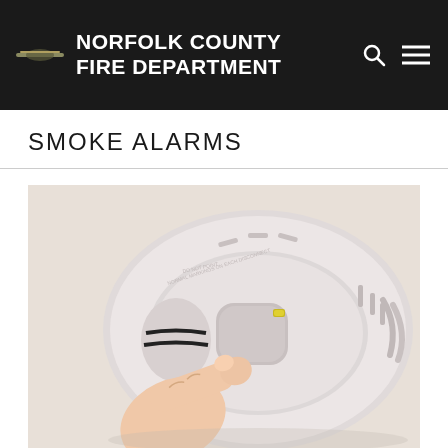NORFOLK COUNTY FIRE DEPARTMENT
SMOKE ALARMS
[Figure (photo): A hand pressing the test button on a white smoke alarm detector mounted on a ceiling. The device has a round oval shape with ventilation slots and a small yellow/green LED indicator light visible.]